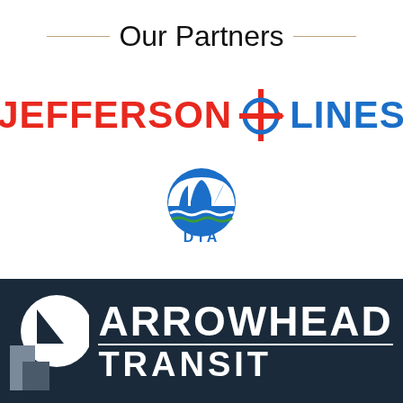Our Partners
[Figure (logo): Jefferson Lines logo — 'JEFFERSON' in red bold uppercase, a circular icon with vertical bar and horizontal arrow in red/blue, 'LINES' in blue bold uppercase]
[Figure (logo): DTA logo — blue circular emblem with white sails/ship and wave design, 'DTA' text below in blue and green]
[Figure (logo): Arrowhead Transit logo — white arrow/circle icon on dark navy background, 'ARROWHEAD' in large white bold uppercase, horizontal white line, 'TRANSIT' in large white bold uppercase with wide letter-spacing]